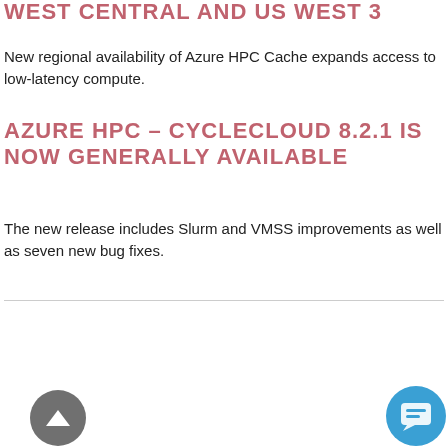WEST CENTRAL AND US WEST 3
New regional availability of Azure HPC Cache expands access to low-latency compute.
AZURE HPC – CYCLECLOUD 8.2.1 IS NOW GENERALLY AVAILABLE
The new release includes Slurm and VMSS improvements as well as seven new bug fixes.
[Figure (screenshot): Grid of Azure CycleCloud UI screenshots showing cluster management dashboards, node topology, 3D visualization, and configuration panels, with a chat assistant overlay asking 'Got any questions? I'm happy to help.' and close button, scroll-to-top button, and chat bubble button.]